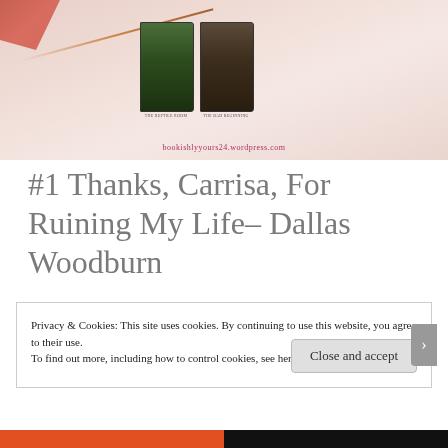[Figure (photo): Blog post header image showing two A Series of Unfortunate Events books (The Reptile Room and The Bad Beginning) propped up against a pink background with a pencil, leaf decoration, and watermark text 'bookishlyyours24.wordpress.com']
#1 Thanks, Carrisa, For Ruining My Life– Dallas Woodburn
Privacy & Cookies: This site uses cookies. By continuing to use this website, you agree to their use.
To find out more, including how to control cookies, see here: Cookie Policy
Close and accept